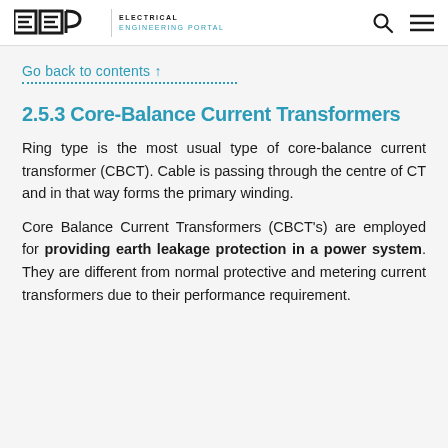EEP | ELECTRICAL ENGINEERING PORTAL
Go back to contents ↑
2.5.3 Core-Balance Current Transformers
Ring type is the most usual type of core-balance current transformer (CBCT). Cable is passing through the centre of CT and in that way forms the primary winding.
Core Balance Current Transformers (CBCT's) are employed for providing earth leakage protection in a power system. They are different from normal protective and metering current transformers due to their performance requirement.